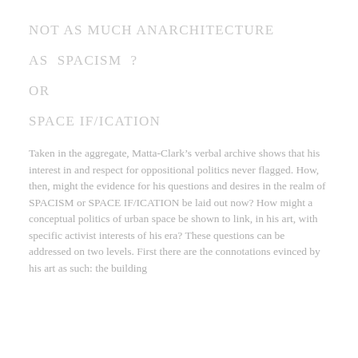NOT AS MUCH ANARCHITECTURE
AS  SPACISM  ?
OR
SPACE IF/ICATION
Taken in the aggregate, Matta-Clark’s verbal archive shows that his interest in and respect for oppositional politics never flagged. How, then, might the evidence for his questions and desires in the realm of SPACISM or SPACE IF/ICATION be laid out now? How might a conceptual politics of urban space be shown to link, in his art, with specific activist interests of his era? These questions can be addressed on two levels. First there are the connotations evinced by his art as such: the building